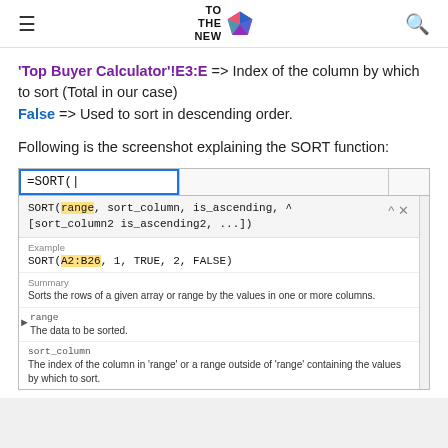TO THE NEW [logo]
'Top Buyer Calculator'!E3:E => Index of the column by which to sort (Total in our case) False => Used to sort in descending order.
Following is the screenshot explaining the SORT function:
[Figure (screenshot): Google Sheets autocomplete popup for the SORT function showing syntax: SORT(range, sort_column, is_ascending, [sort_column2 is_ascending2, ...]), an example SORT(A2:B26, 1, TRUE, 2, FALSE), a summary describing the function, and parameter descriptions for 'range' and 'sort_column'.]